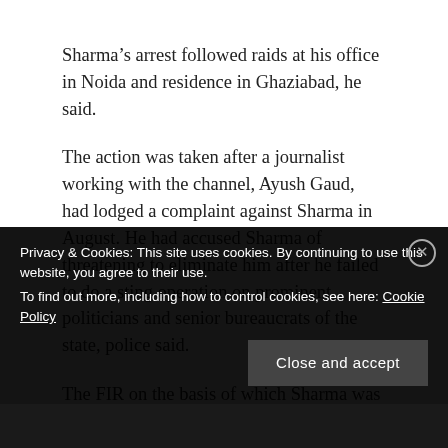Sharma's arrest followed raids at his office in Noida and residence in Ghaziabad, he said.
The action was taken after a journalist working with the channel, Ayush Gaud, had lodged a complaint against Sharma in August. He had accused Sharma of threatening to eliminate him after he failed to do a sting operation on prominent politicians and senior bureaucrats of the state, police said.
The FIR on the basis of which Sharma was arrested accuses him and four others of conducting sting operations on senior politicians and bureaucrats with
Privacy & Cookies: This site uses cookies. By continuing to use this website, you agree to their use.
To find out more, including how to control cookies, see here: Cookie Policy
Close and accept